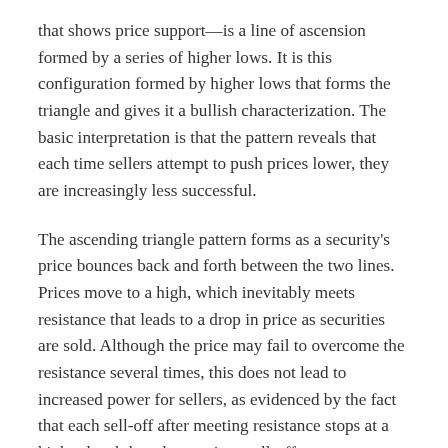that shows price support—is a line of ascension formed by a series of higher lows. It is this configuration formed by higher lows that forms the triangle and gives it a bullish characterization. The basic interpretation is that the pattern reveals that each time sellers attempt to push prices lower, they are increasingly less successful.
The ascending triangle pattern forms as a security's price bounces back and forth between the two lines. Prices move to a high, which inevitably meets resistance that leads to a drop in price as securities are sold. Although the price may fail to overcome the resistance several times, this does not lead to increased power for sellers, as evidenced by the fact that each sell-off after meeting resistance stops at a higher level than the previous sell-off attempt.